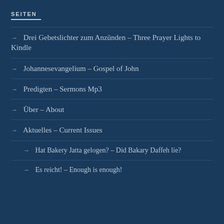SEITEN
→ Drei Gebetslichter zum Anzünden – Three Prayer Lights to Kindle
→ Johannesevangelium – Gospel of John
→ Predigten – Sermons Mp3
→ Über – About
→ Aktuelles – Current Issues
→ Hat Bakery Jatta gelogen? – Did Bakary Daffeh lie?
→ Es reicht! – Enough is enough!